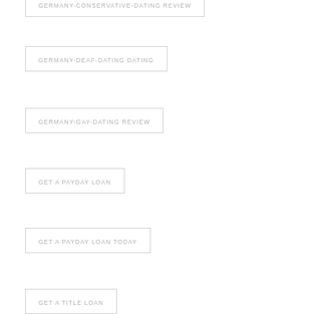GERMANY-CONSERVATIVE-DATING REVIEW
GERMANY-DEAF-DATING DATING
GERMANY-GAY-DATING REVIEW
GET A PAYDAY LOAN
GET A PAYDAY LOAN TODAY
GET A TITLE LOAN
GET FAST PAYDAY LOAN
GET IT ON ADULT DATING
GET IT ON DATING
GET IT ON DE REVIEW
GET PAID ON A CAR TITLE...